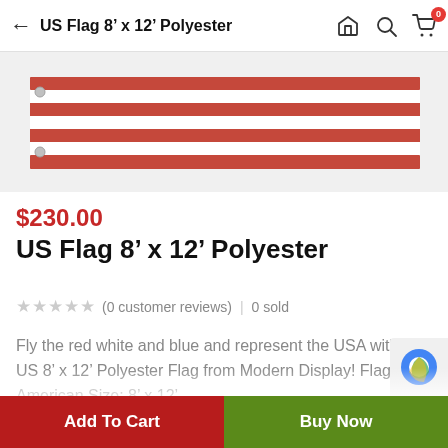US Flag 8' x 12' Polyester
[Figure (photo): Product photo of a US flag folded lengthwise showing red and white stripes on a white background]
$230.00
US Flag 8' x 12' Polyester
★★★★★ (0 customer reviews) | 0 sold
Fly the red white and blue and represent the USA with the US 8' x 12' Polyester Flag from Modern Display! Flag: American Size: 8' x 12'